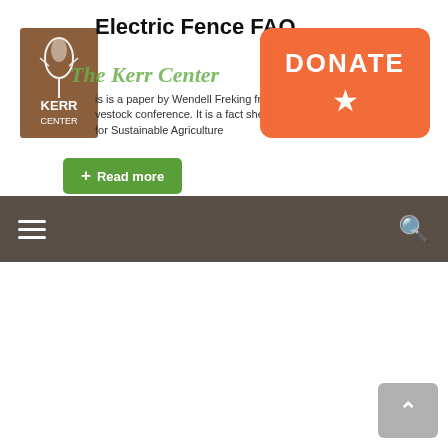Electric Fence FAQ
[Figure (logo): Kerr Center for Sustainable Agriculture logo — brown square with wheat/grain graphic and KERR CENTER text]
The Kerr Center
is is a paper by Wendell Freking fr livestock conference. It is a fact she for Sustainable Agriculture
[Figure (other): DONATE button with orange/coral background and star icon]
+ Read more
Navigation bar with hamburger menu and search icon
[Figure (illustration): Line drawing illustration of an electric fence setup with solar panel, energizer unit, and fence wires extending to the right]
[Figure (other): Back to top button with upward chevron arrow, grey rounded rectangle]